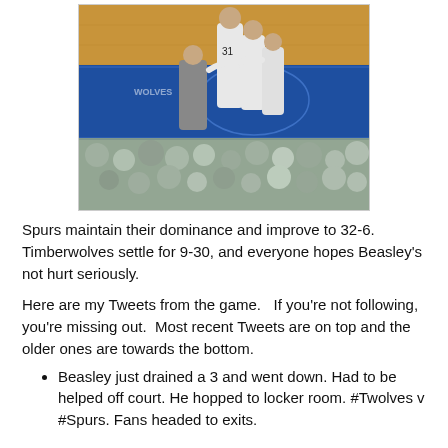[Figure (photo): Basketball court scene showing players helping an injured player off the court, with a man in a grey suit assisting, fans visible in the background. Minnesota Timberwolves uniforms visible.]
Spurs maintain their dominance and improve to 32-6. Timberwolves settle for 9-30, and everyone hopes Beasley's not hurt seriously.
Here are my Tweets from the game.   If you're not following, you're missing out.  Most recent Tweets are on top and the older ones are towards the bottom.
Beasley just drained a 3 and went down. Had to be helped off court. He hopped to locker room. #Twolves v #Spurs. Fans headed to exits.